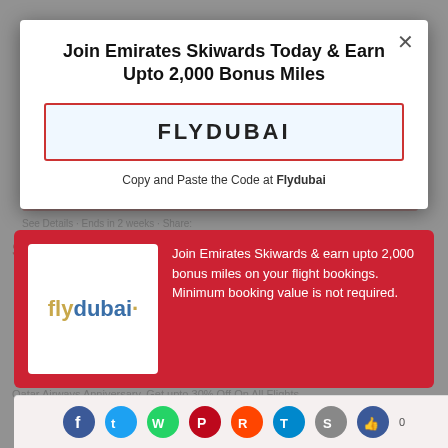Join Emirates Skiwards Today & Earn Upto 2,000 Bonus Miles
FLYDUBAI
Copy and Paste the Code at Flydubai
[Figure (logo): flydubai airline logo — 'fly' in gold, 'dubai' in blue with a dot]
Join Emirates Skiwards & earn upto 2,000 bonus miles on your flight bookings. Minimum booking value is not required.